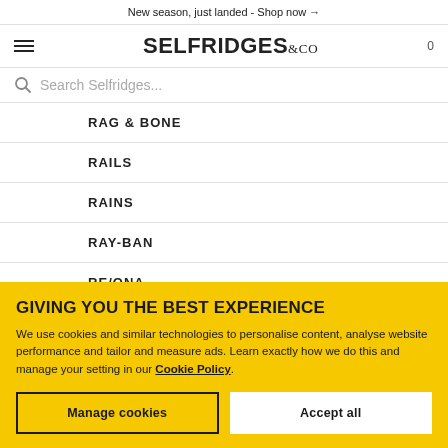New season, just landed - Shop now →
[Figure (logo): Selfridges & Co logo with hamburger menu and cart icon]
Search Selfridges...
RAG & BONE
RAILS
RAINS
RAY-BAN
RE/ONA
GIVING YOU THE BEST EXPERIENCE
We use cookies and similar technologies to personalise content, analyse website performance and tailor and measure ads. Learn exactly how we do this and manage your setting in our Cookie Policy.
Manage cookies
Accept all